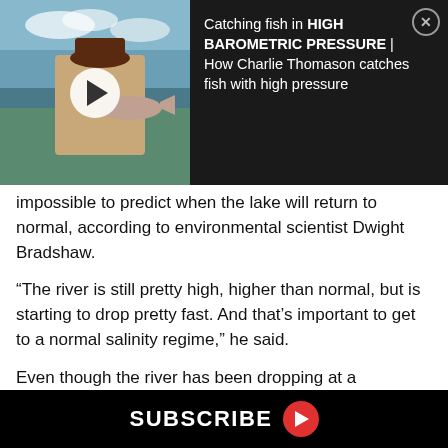[Figure (screenshot): Video thumbnail showing a person holding a fish, with a play button overlay. Dark banner with video title text to the right. Title reads: Catching fish in HIGH BAROMETRIC PRESSURE | How Charlie Thomason catches fish with high pressure. Close/X button in top right corner.]
impossible to predict when the lake will return to normal, according to environmental scientist Dwight Bradshaw.
“The river is still pretty high, higher than normal, but is starting to drop pretty fast. And that’s important to get to a normal salinity regime,” he said.
Even though the river has been dropping at a considerable rate we could see extremely low salinity levels persist for the months ahead unless very specific weather events occur.
SUBSCRIBE